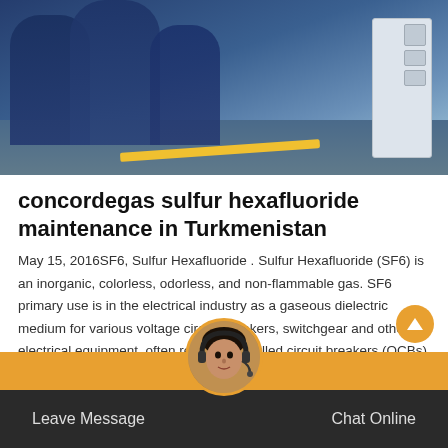[Figure (photo): Workers in blue coveralls/uniforms near industrial electrical equipment. A yellow stripe is visible on the ground and a white electrical cabinet/panel is seen on the right side.]
concordegas sulfur hexafluoride maintenance in Turkmenistan
May 15, 2016SF6, Sulfur Hexafluoride . Sulfur Hexafluoride (SF6) is an inorganic, colorless, odorless, and non-flammable gas. SF6 primary use is in the electrical industry as a gaseous dielectric medium for various voltage circuit breakers, switchgear and other electrical equipment, often replacing oil filled circuit breakers (OCBs) that can contain harmful PCBs.
Leave Message   Chat Online